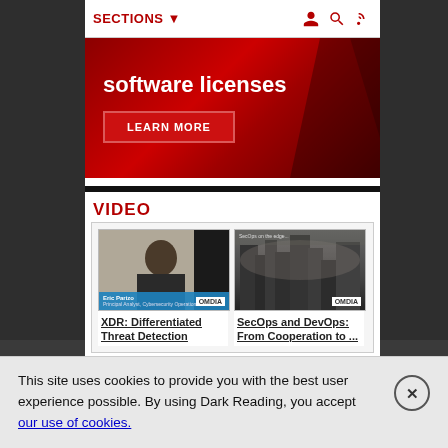SECTIONS
[Figure (illustration): Red banner advertisement showing 'software licenses' text and a 'LEARN MORE' button]
VIDEO
[Figure (photo): Video thumbnail: man speaking (Eric Parizo, Principal Analyst, Cybersecurity Operations) with Omdia branding. Title: XDR: Differentiated Threat Detection]
[Figure (photo): Video thumbnail: dark futuristic city scene with Omdia branding. Title: SecOps and DevOps: From Cooperation to ...]
XDR: Differentiated Threat Detection
SecOps and DevOps: From Cooperation to ...
This site uses cookies to provide you with the best user experience possible. By using Dark Reading, you accept our use of cookies.